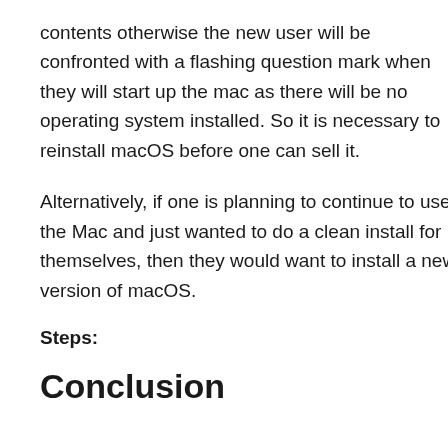contents otherwise the new user will be confronted with a flashing question mark when they will start up the mac as there will be no operating system installed. So it is necessary to reinstall macOS before one can sell it.
Alternatively, if one is planning to continue to use the Mac and just wanted to do a clean install for themselves, then they would want to install a new version of macOS.
Steps:
Conclusion